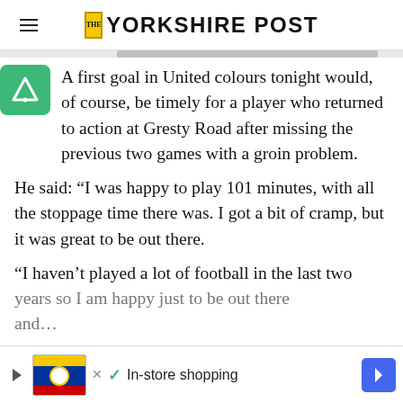THE YORKSHIRE POST
A first goal in United colours tonight would, of course, be timely for a player who returned to action at Gresty Road after missing the previous two games with a groin problem.
He said: “I was happy to play 101 minutes, with all the stoppage time there was. I got a bit of cramp, but it was great to be out there.
“I haven’t played a lot of football in the last two years so I am happy just to be out there and…